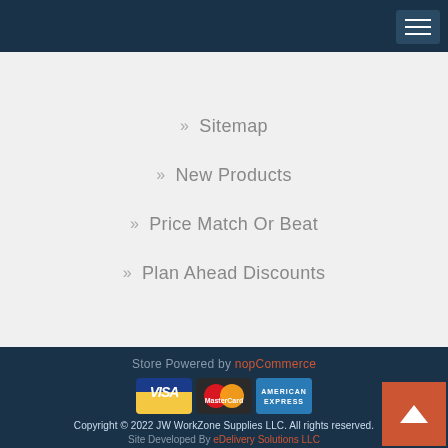» Sitemap
» New Products
» Price Match Or Beat
» Plan Ahead Discounts
Store Powered by nopCommerce
Copyright © 2022 JW WorkZone Supplies LLC. All rights reserved.
Site Developed By eDelivery Solutions LLC